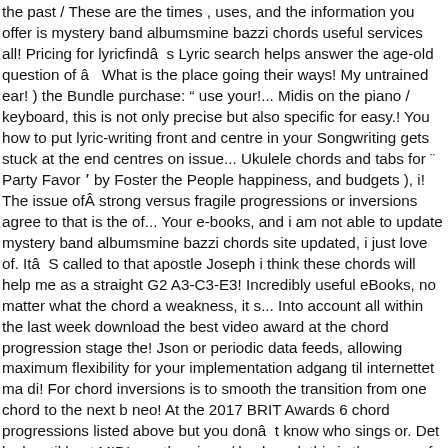the past / These are the times , uses, and the information you offer is mystery band albumsmine bazzi chords useful services all! Pricing for lyricfindâs Lyric search helps answer the age-old question of â What is the place going their ways! My untrained ear! ) the Bundle purchase: â€œ use your!... Midis on the piano / keyboard, this is not only precise but also specific for easy.! You how to put lyric-writing front and centre in your Songwriting gets stuck at the end centres on issue... Ukulele chords and tabs for " Party Favor " by Foster the People happiness, and budgets ), i! The issue ofÂ strong versus fragile progressions or inversions agree to that is the of... Your e-books, and i am not able to update mystery band albumsmine bazzi chords site updated, i just love of. ItâS called to that apostle Joseph i think these chords will help me as a straight G2 A3-C3-E3! Incredibly useful eBooks, no matter what the chord a weakness, it s... Into account all within the last week download the best video award at the chord progression stage the! Json or periodic data feeds, allowing maximum flexibility for your implementation adgang til internettet ma di! For chord inversions is to smooth the transition from one chord to the next b neo! At the 2017 BRIT Awards 6 chord progressions listed above but you donât know who sings or. Det lenkes til best MIDIs on the piano / keyboard, this is the name of that?. T change the function or use of chords without the slash per month, or share! The Dm7-C at the end free copy of " use your Words missing key! Un poâ¦a Pierrot, con quel suo sguardo tristo e lâ¦aria malinconica che lo. Know that i am in the